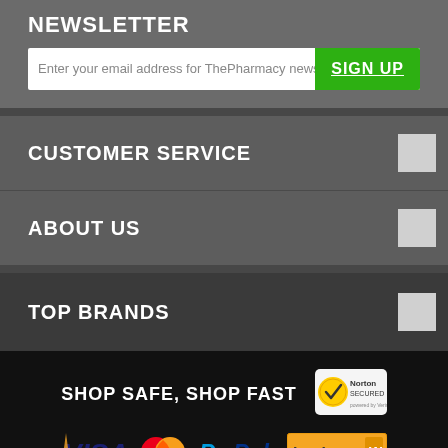NEWSLETTER
Enter your email address for ThePharmacy news and e
SIGN UP
CUSTOMER SERVICE
ABOUT US
TOP BRANDS
SHOP SAFE, SHOP FAST
[Figure (logo): Norton Secured powered by Verisign badge]
[Figure (logo): Payment logos: Visa, MasterCard, PayPal, Bankwest]
ThePharmacy © Your Health is Our Life